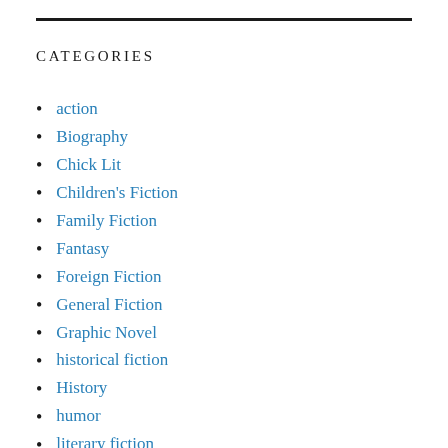CATEGORIES
action
Biography
Chick Lit
Children's Fiction
Family Fiction
Fantasy
Foreign Fiction
General Fiction
Graphic Novel
historical fiction
History
humor
literary fiction